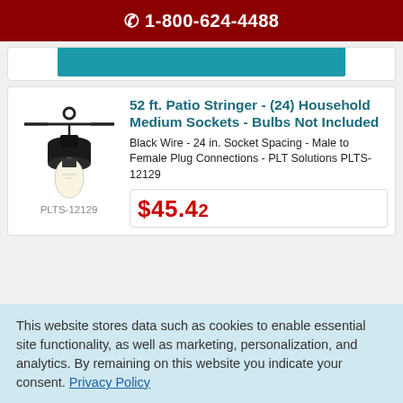☎ 1-800-624-4488
[Figure (illustration): Teal/cyan colored button or banner bar]
[Figure (photo): 52 ft. Patio Stringer product photo showing a string light socket with a clear Edison bulb, black wire, product SKU PLTS-12129]
52 ft. Patio Stringer - (24) Household Medium Sockets - Bulbs Not Included
Black Wire - 24 in. Socket Spacing - Male to Female Plug Connections - PLT Solutions PLTS-12129
$45.42
This website stores data such as cookies to enable essential site functionality, as well as marketing, personalization, and analytics. By remaining on this website you indicate your consent. Privacy Policy